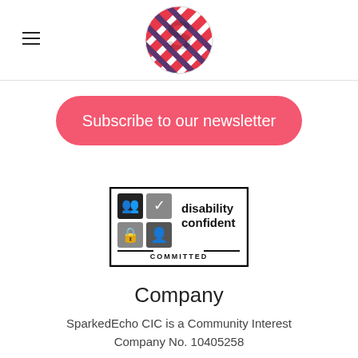≡  [SparkedEcho logo]
[Figure (logo): SparkedEcho logo: circular logo with stylized S letter in pink/red and purple diagonal stripes]
Subscribe to our newsletter
[Figure (logo): Disability Confident Committed badge — square border with two rows of icons (people, checkmark, lock, person) and text 'disability confident COMMITTED']
Company
SparkedEcho CIC is a Community Interest Company No. 10405258